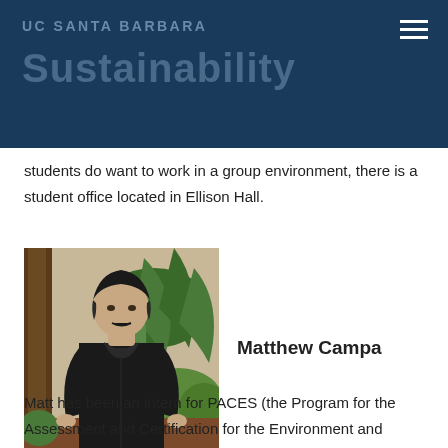UC SANTA BARBARA Sustainability
students do want to work in a group environment, there is a student office located in Ellison Hall.
[Figure (photo): Matthew Campa, a young man wearing a black polo shirt, standing outdoors in front of green tropical plants and agave plants near a building.]
Matthew Campa
Matt has been an intern for PACES (the Program for the Assessment and Certification for the Environment and Sustainability) for two years. He assists event planners and